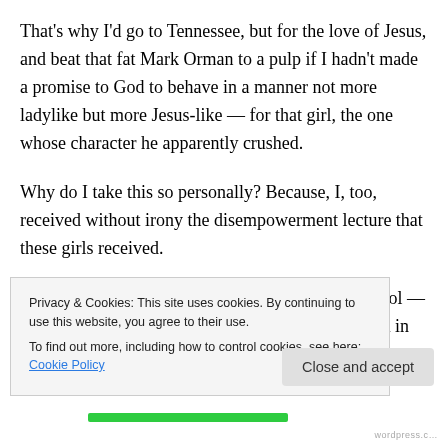That's why I'd go to Tennessee, but for the love of Jesus, and beat that fat Mark Orman to a pulp if I hadn't made a promise to God to behave in a manner not more ladylike but more Jesus-like — for that girl, the one whose character he apparently crushed.
Why do I take this so personally?  Because, I, too, received without irony the disempowerment lecture that these girls received.
When I was in eighth grade, I attended a girls' school — Castilleja School for Girls.  On Founder's Day, back in the
Privacy & Cookies: This site uses cookies. By continuing to use this website, you agree to their use.
To find out more, including how to control cookies, see here: Cookie Policy
Close and accept